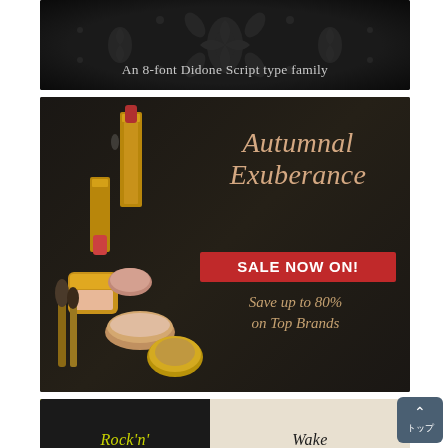[Figure (illustration): Black background banner with dark damask floral pattern. Text reads 'An 8-font Didone Script type family' in light gray serif font.]
[Figure (photo): Dark background cosmetics advertisement showing luxury makeup products (lipstick, blush, powder, brushes) on the left side. Overlaid italic text 'Autumnal Exuberance' in rose-gold color, a red badge 'SALE NOW ON!', and italic text 'Save up to 80% on Top Brands' in gold.]
[Figure (photo): Yellow-green background showing two T-shirts: a dark shirt on the left with yellow-gold italic text 'Rock'n'' and a light cream shirt on the right with dark italic text 'Wake'. A teal/gray 'Back to top' button with Japanese text 'トップ' is overlaid in the bottom right corner.]